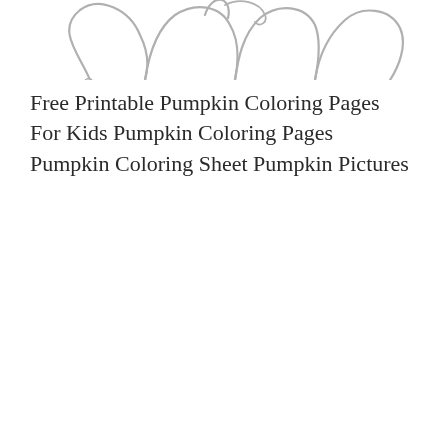[Figure (illustration): Partial outline illustration of a pumpkin top (stem and upper lobes), shown in light gray lines, cropped at the top of the page.]
Free Printable Pumpkin Coloring Pages For Kids Pumpkin Coloring Pages Pumpkin Coloring Sheet Pumpkin Pictures